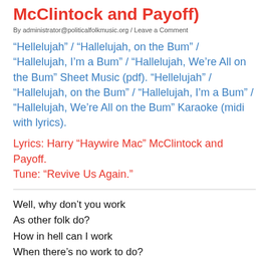McClintock and Payoff)
By administrator@politicalfolkmusic.org / Leave a Comment
“Hellelujah” / “Hallelujah, on the Bum” / “Hallelujah, I’m a Bum” / “Hallelujah, We’re All on the Bum” Sheet Music (pdf). “Hellelujah” / “Hallelujah, on the Bum” / “Hallelujah, I’m a Bum” / “Hallelujah, We’re All on the Bum” Karaoke (midi with lyrics).
Lyrics: Harry “Haywire Mac” McClintock and Payoff. Tune: “Revive Us Again.”
Well, why don’t you work
As other folk do?
How in hell can I work
When there’s no work to do?